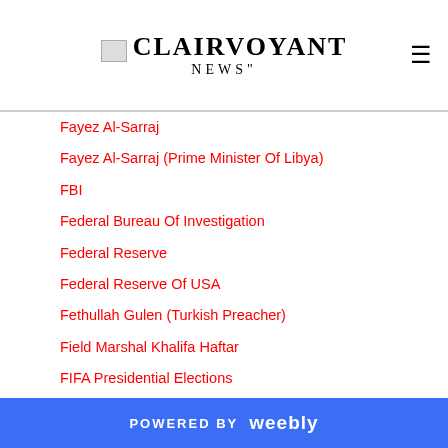CLAIRVOYANT
Fayez Al-Sarraj
Fayez Al-Sarraj (Prime Minister Of Libya)
FBI
Federal Bureau Of Investigation
Federal Reserve
Federal Reserve Of USA
Fethullah Gulen (Turkish Preacher)
Field Marshal Khalifa Haftar
FIFA Presidential Elections
Financial Forecasting
First Abu Dhabi Bank - NBAD (UAE's Largest Bank)
Flight 19 And Amelia Earhart
Flight MH 370
Flight PS 752 That Crashed Over Iran
Florida
POWERED BY weebly